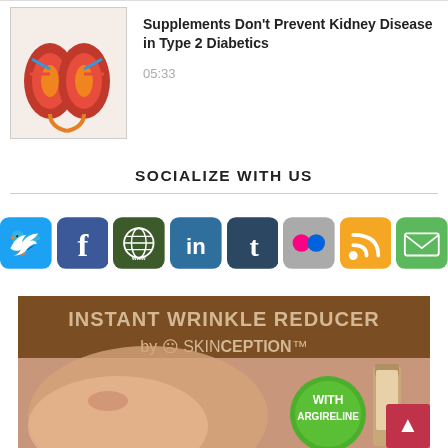[Figure (photo): Thumbnail image of a kidney illustration for article about supplements and kidney disease]
Supplements Don't Prevent Kidney Disease in Type 2 Diabetics
05:33
SOCIALIZE WITH US
[Figure (infographic): Row of social media icon buttons: Twitter, Facebook, Website/www, LinkedIn, Tumblr, Flickr, RSS, Email]
[Figure (photo): Advertisement banner for Instant Wrinkle Reducer by Skinception with Argireline, showing a woman's face and product bottle]